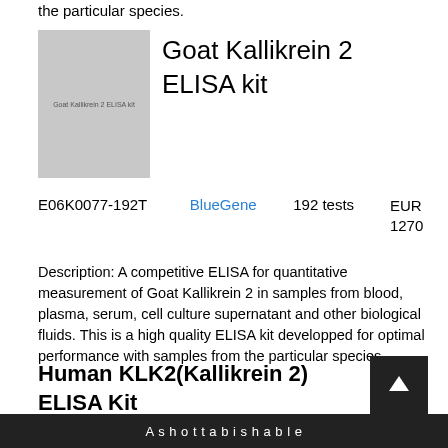the particular species.
Goat Kallikrein 2 ELISA kit
[Figure (photo): Product image placeholder for Goat Kallikrein 2 ELISA kit]
| Product ID | Brand | Quantity | Price |
| --- | --- | --- | --- |
| E06K0077-192T | BlueGene | 192 tests | EUR 1270 |
Description: A competitive ELISA for quantitative measurement of Goat Kallikrein 2 in samples from blood, plasma, serum, cell culture supernatant and other biological fluids. This is a high quality ELISA kit developped for optimal performance with samples from the particular species.
Human KLK2(Kallikrein 2) ELISA Kit